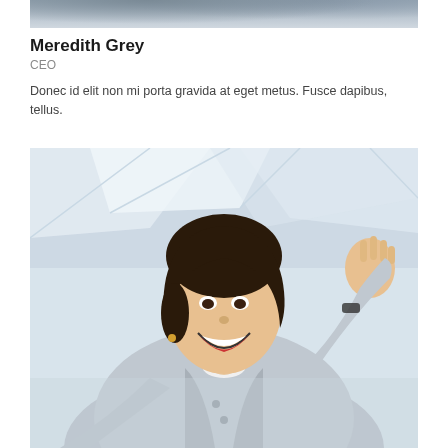[Figure (photo): Partial photo of person(s) cropped at top of page]
Meredith Grey
CEO
Donec id elit non mi porta gravida at eget metus. Fusce dapibus, tellus.
[Figure (photo): Photo of a smiling young businesswoman in a grey blazer waving her hand, in a bright interior space]